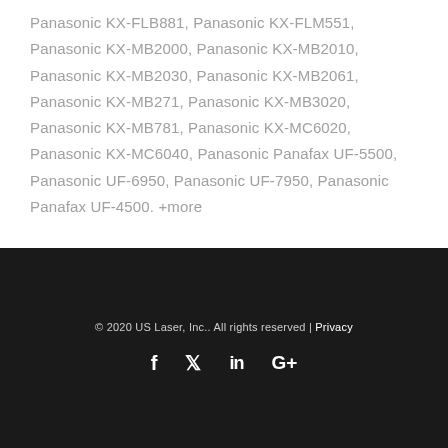Panasonic KX-FLB881, Panasonic KX-FLM551, Panasonic KX-MB2000, Panasonic KX-MB2010, Panasonic KX-MB2030, Panasonic KX-MB2061, Panasonic KX-MB271, Panasonic KX-MB3020, Panasonic KX-MB781, Panasonic KX-MC6020, Panasonic KX-MC6040, Panasonic Panafax UF-5500, Panasonic UF-6950, Panasonic UF-7950, Panasonic Panafax UF-4500. +more
© 2020 US Laser, Inc.. All rights reserved | Privacy